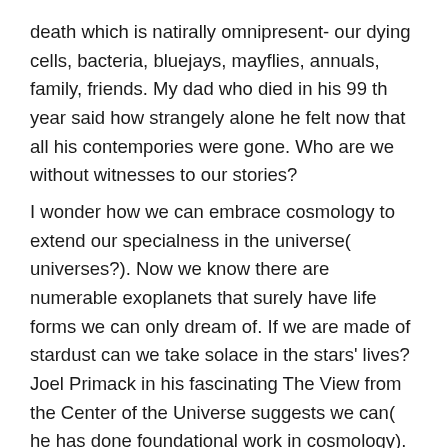death which is natirally omnipresent- our dying cells, bacteria, bluejays, mayflies, annuals, family, friends. My dad who died in his 99 th year said how strangely alone he felt now that all his contempories were gone. Who are we without witnesses to our stories? I wonder how we can embrace cosmology to extend our specialness in the universe( universes?). Now we know there are numerable exoplanets that surely have life forms we can only dream of. If we are made of stardust can we take solace in the stars' lives? Joel Primack in his fascinating The View from the Center of the Universe suggests we can( he has done foundational work in cosmology). My dad dying in hospice blurted to an anglican priest mumbling